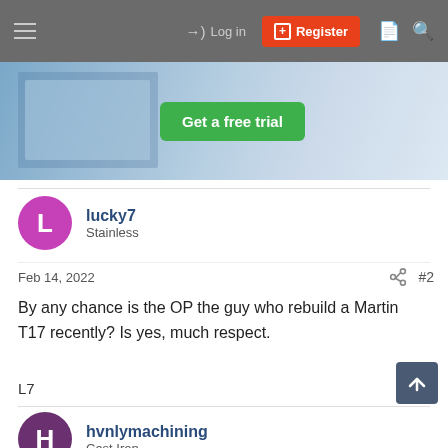[Figure (screenshot): Website navigation bar with hamburger menu, Log in link, Register button (orange), and search/document icons on grey background]
[Figure (screenshot): Advertisement banner with blue background showing software interface and a green 'Get a free trial' button]
lucky7
Stainless
Feb 14, 2022
#2
By any chance is the OP the guy who rebuild a Martin T17 recently? Is yes, much respect.
L7
hvnlymachining
Cast Iron